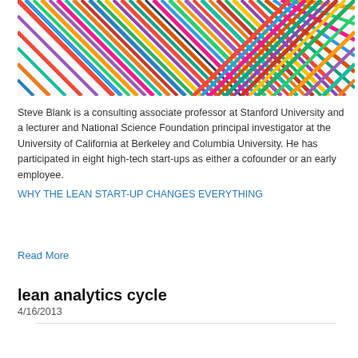[Figure (illustration): Colorful abstract geometric artwork with multicolored zigzag and angular stripe patterns forming a chaotic, vibrant composition.]
Steve Blank is a consulting associate professor at Stanford University and a lecturer and National Science Foundation principal investigator at the University of California at Berkeley and Columbia University. He has participated in eight high-tech start-ups as either a cofounder or an early employee.
WHY THE LEAN START-UP CHANGES EVERYTHING
Read More
lean analytics cycle
4/16/2013